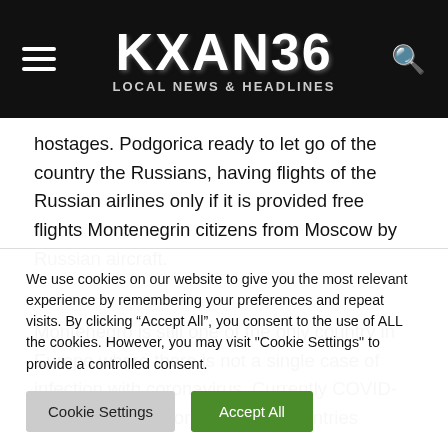KXAN36 LOCAL NEWS & HEADLINES
hostages. Podgorica ready to let go of the country the Russians, having flights of the Russian airlines only if it is provided free flights Montenegrin citizens from Moscow by Russian aircraft.
Montenegro is still one of the only country in Europe where there is not a single case of infection with coronavirus. Currently COVID-19 identified in more than 145 countries...
We use cookies on our website to give you the most relevant experience by remembering your preferences and repeat visits. By clicking “Accept All”, you consent to the use of ALL the cookies. However, you may visit "Cookie Settings" to provide a controlled consent.